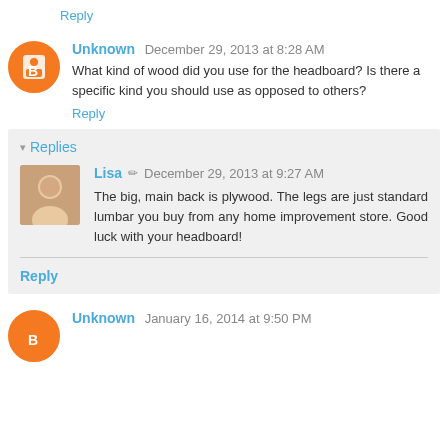Reply
Unknown  December 29, 2013 at 8:28 AM
What kind of wood did you use for the headboard? Is there a specific kind you should use as opposed to others?
Reply
Replies
Lisa  December 29, 2013 at 9:27 AM
The big, main back is plywood. The legs are just standard lumbar you buy from any home improvement store. Good luck with your headboard!
Reply
Unknown  January 16, 2014 at 9:50 PM